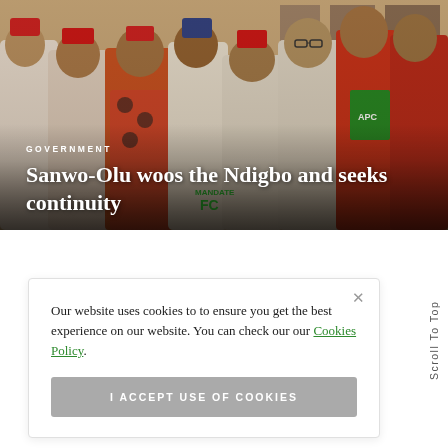[Figure (photo): Group photo of several men in Nigerian traditional attire and casual wear, some wearing red caps and patterned clothing, one wearing an APC (political party) sash, gathered together indoors with framed pictures on wall in background.]
GOVERNMENT
Sanwo-Olu woos the Ndigbo and seeks continuity
Our website uses cookies to to ensure you get the best experience on our website. You can check our our Cookies Policy.
I ACCEPT USE OF COOKIES
Scroll To Top